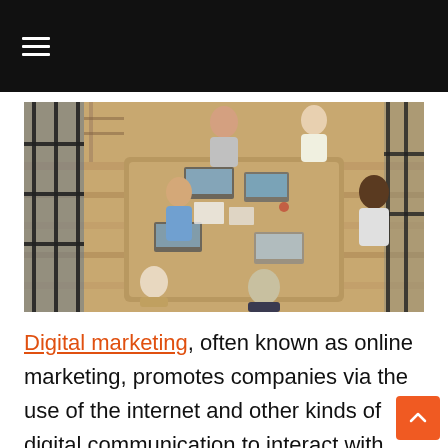≡
[Figure (photo): Overhead view of a group of people working together at a large wooden table with laptops and papers in an office with glass walls]
Digital marketing, often known as online marketing, promotes companies via the use of the internet and other kinds of digital communication to interact with potential clients. Many of the same techniques are used in digital marketing as inbound marketing, such as email